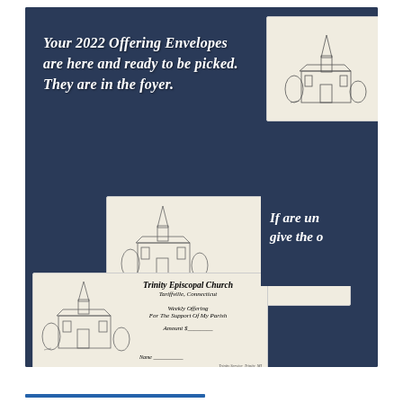[Figure (photo): Composite church announcement image on dark navy background showing offering envelopes for Trinity Episcopal Church, Tariffville, Connecticut with text about 2022 offering envelopes being ready in the foyer. Envelopes display church illustration with 'Trinity Episcopal Church, Tariffville, Connecticut, Weekly Offering For The Support Of My Parish, Amount $_____, Name ____'. Right side partially shows text 'If are una... give the o...'.]